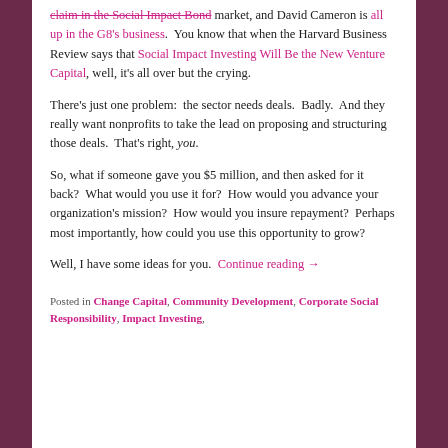claim in the Social Impact Bond market, and David Cameron is all up in the G8's business. You know that when the Harvard Business Review says that Social Impact Investing Will Be the New Venture Capital, well, it's all over but the crying.
There's just one problem: the sector needs deals. Badly. And they really want nonprofits to take the lead on proposing and structuring those deals. That's right, you.
So, what if someone gave you $5 million, and then asked for it back? What would you use it for? How would you advance your organization's mission? How would you insure repayment? Perhaps most importantly, how could you use this opportunity to grow?
Well, I have some ideas for you. Continue reading →
Posted in Change Capital, Community Development, Corporate Social Responsibility, Impact Investing,